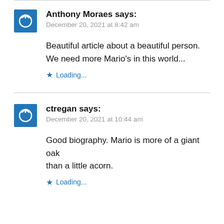Anthony Moraes says:
December 20, 2021 at 8:42 am
Beautiful article about a beautiful person. We need more Mario's in this world...
Loading...
ctregan says:
December 20, 2021 at 10:44 am
Good biography. Mario is more of a giant oak than a little acorn.
Loading...